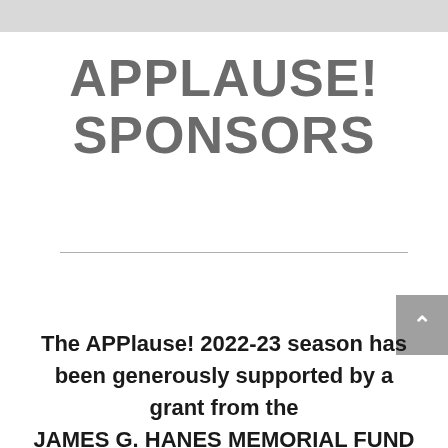APPLAUSE! SPONSORS
The APPlause! 2022-23 season has been generously supported by a grant from the JAMES G. HANES MEMORIAL FUND